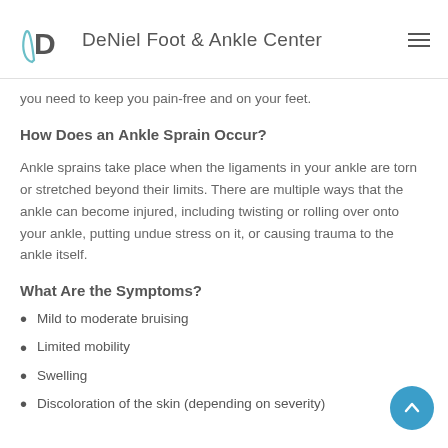DeNiel Foot & Ankle Center
you need to keep you pain-free and on your feet.
How Does an Ankle Sprain Occur?
Ankle sprains take place when the ligaments in your ankle are torn or stretched beyond their limits. There are multiple ways that the ankle can become injured, including twisting or rolling over onto your ankle, putting undue stress on it, or causing trauma to the ankle itself.
What Are the Symptoms?
Mild to moderate bruising
Limited mobility
Swelling
Discoloration of the skin (depending on severity)